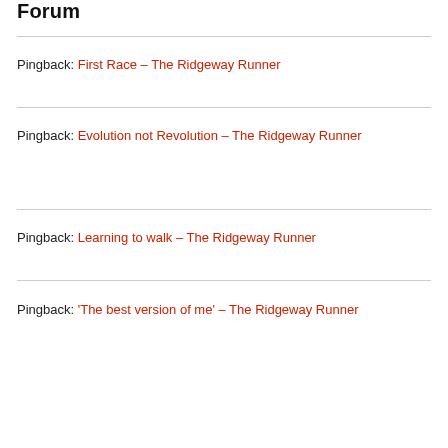Pingback: First Race – The Ridgeway Runner
Pingback: Evolution not Revolution – The Ridgeway Runner
Pingback: Learning to walk – The Ridgeway Runner
Pingback: 'The best version of me' – The Ridgeway Runner